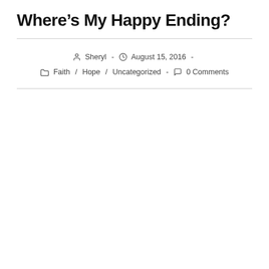Where’s My Happy Ending?
Sheryl – August 15, 2016 – Faith / Hope / Uncategorized – 0 Comments